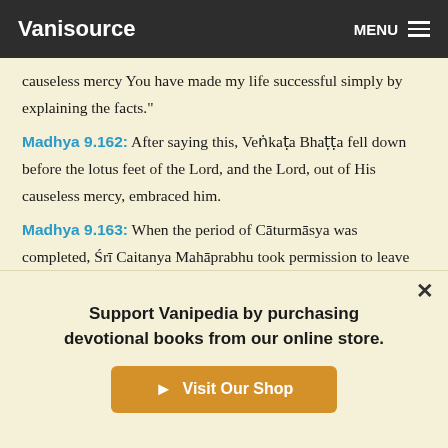Vanisource | MENU
causeless mercy You have made my life successful simply by explaining the facts."
Madhya 9.162: After saying this, Veṅkaṭa Bhaṭṭa fell down before the lotus feet of the Lord, and the Lord, out of His causeless mercy, embraced him.
Madhya 9.163: When the period of Cāturmāsya was completed, Śrī Caitanya Mahāprabhu took permission to leave Veṅkaṭa Bhaṭṭa, and after visiting Śrī Raṅga He proceeded further toward southern India.
Madhya 9.164: Veṅkaṭa Bhaṭṭa did not want to return home but
Support Vanipedia by purchasing devotional books from our online store.
Visit Our Shop